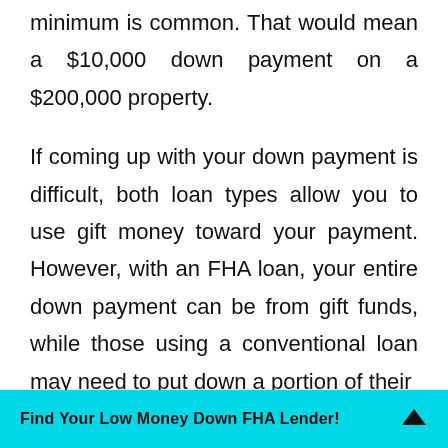minimum is common. That would mean a $10,000 down payment on a $200,000 property.

If coming up with your down payment is difficult, both loan types allow you to use gift money toward your payment. However, with an FHA loan, your entire down payment can be from gift funds, while those using a conventional loan may need to put down a portion of their
Find Your Low Money Down FHA Lender!